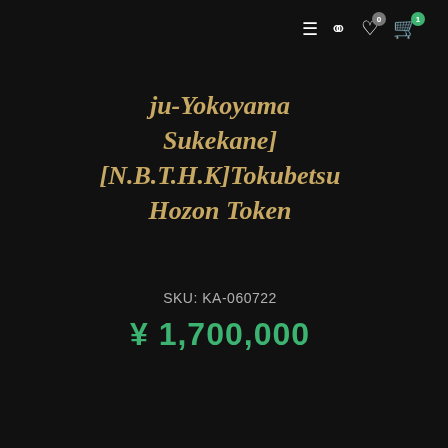Navigation bar with menu, search, wishlist (0), and cart (1) icons
ju-Yokoyama Sukekane] [N.B.T.H.K]Tokubetsu Hozon Token
SKU: KA-060722
¥ 1,700,000